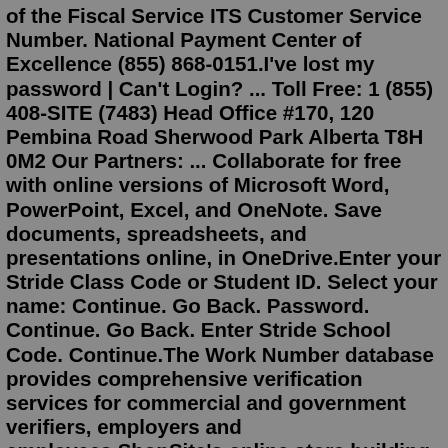of the Fiscal Service ITS Customer Service Number. National Payment Center of Excellence (855) 868-0151.I've lost my password | Can't Login? ... Toll Free: 1 (855) 408-SITE (7483) Head Office #170, 120 Pembina Road Sherwood Park Alberta T8H 0M2 Our Partners: ... Collaborate for free with online versions of Microsoft Word, PowerPoint, Excel, and OneNote. Save documents, spreadsheets, and presentations online, in OneDrive.Enter your Stride Class Code or Student ID. Select your name: Continue. Go Back. Password. Continue. Go Back. Enter Stride School Code. Continue.The Work Number database provides comprehensive verification services for commercial and government verifiers, employers and employees.ShopSite's online store building software helps create search engine friendly sites without any coding knowledge, including adding social media and integrating with third-party tools such as WordPress blogs and Constant Contact email marketing. Create Built in themes and an easy user interface to help you build and design your online store quickly.Sign In.